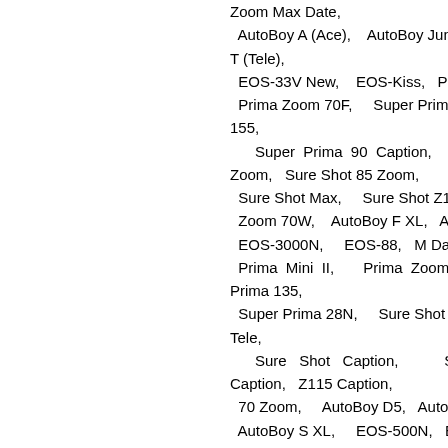Zoom Max Date, AutoBoy A (Ace), AutoBoy Juno 76, AutoBoy T (Tele), EOS-33V New, EOS-Kiss, Prima 5 Date, Prima Zoom 70F, Super Prima 105, Super 155, Super Prima 90 Caption, Sure Shot Zoom, Sure Shot 85 Zoom, Sure Shot Max, Sure Shot Z115, Sure Shot Zoom 70W, AutoBoy F XL, AutoBoy Luna 8, EOS-3000N, EOS-88, M Date, Prima Mini II, Prima Zoom Mini Caption, Prima 135, Super Prima 28N, Sure Shot 105Z, Sure Shot Tele, Sure Shot Caption, Sure Shot Caption, Z115 Caption, 70 Zoom, AutoBoy D5, AutoBoy Luna 105, AutoBoy S XL, EOS-500N, EOS-Rebel X, Prima AS-1 AllSport, Sure Shot Z150u, Zoom 85, Super Prima 115, Super Prima 155N, Super 105 Date, Sure Shot 76 Zoom, Sure Shot A1, Sure Shot Mini,